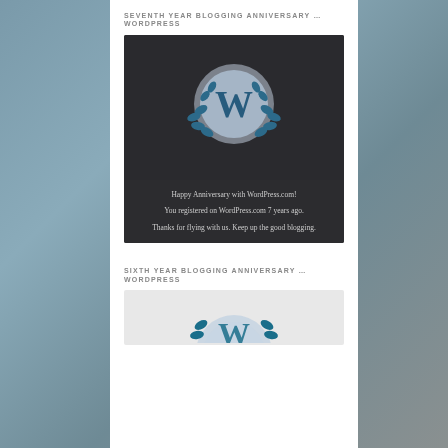SEVENTH YEAR BLOGGING ANNIVERSARY … WORDPRESS
[Figure (illustration): WordPress 7th anniversary badge with WordPress W logo surrounded by laurel wreath on dark background, with text: Happy Anniversary with WordPress.com! You registered on WordPress.com 7 years ago. Thanks for flying with us. Keep up the good blogging.]
SIXTH YEAR BLOGGING ANNIVERSARY … WORDPRESS
[Figure (illustration): WordPress 6th anniversary badge partially visible, showing WordPress W logo with laurel wreath on light gray background]